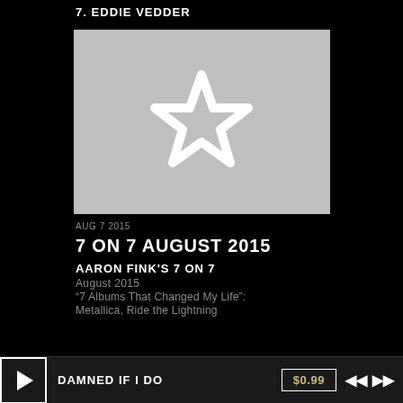7. EDDIE VEDDER
[Figure (illustration): Gray rectangle placeholder image with a white outlined star in the center]
AUG 7 2015
7 ON 7 AUGUST 2015
AARON FINK'S 7 ON 7
August 2015
"7 Albums That Changed My Life":
Metallica, Ride the Lightning
DAMNED IF I DO  $0.99